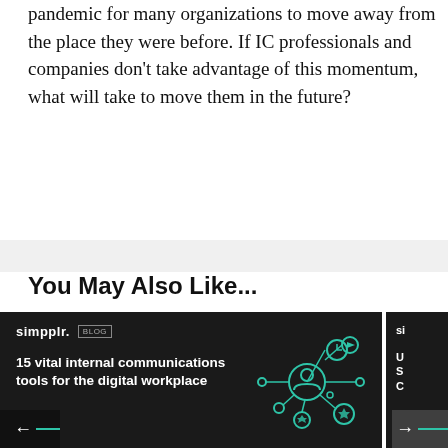pandemic for many organizations to move away from the place they were before. If IC professionals and companies don't take advantage of this momentum, what will take to move them in the future?
You May Also Like...
[Figure (screenshot): Dark-themed blog post card from simpplr with title '15 vital internal communications tools for the digital workplace' and a teal network icon graphic. Left navigation arrow with teal line visible at bottom left.]
[Figure (screenshot): Partial dark-themed blog post card from simpplr, partially cut off on right edge. Contains simpplr logo and partial text. Right navigation arrow visible.]